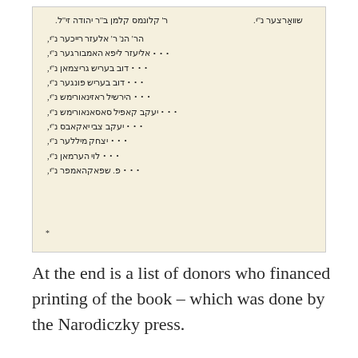[Figure (other): Scanned page from a Hebrew book showing a list of donors in Hebrew/Yiddish script with decorative dot separators, and a header line with two names.]
At the end is a list of donors who financed printing of the book – which was done by the Narodiczky press.